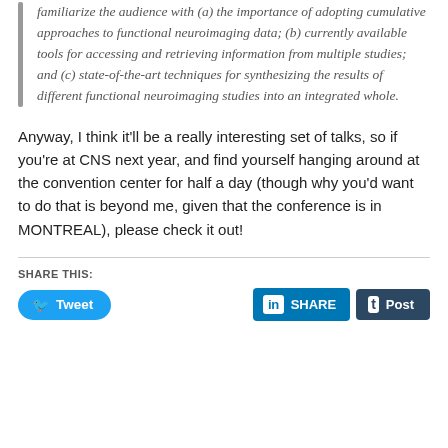familiarize the audience with (a) the importance of adopting cumulative approaches to functional neuroimaging data; (b) currently available tools for accessing and retrieving information from multiple studies; and (c) state-of-the-art techniques for synthesizing the results of different functional neuroimaging studies into an integrated whole.
Anyway, I think it'll be a really interesting set of talks, so if you're at CNS next year, and find yourself hanging around at the convention center for half a day (though why you'd want to do that is beyond me, given that the conference is in MONTREAL), please check it out!
SHARE THIS:
[Figure (other): Social share buttons: Tweet (Twitter/blue), SHARE (LinkedIn/blue), Post (Tumblr/dark navy)]